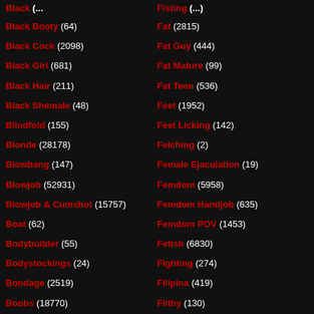Black Booty (64)
Black Cock (2098)
Black Girl (681)
Black Hair (211)
Black Shemale (48)
Blindfold (155)
Blonde (28178)
Blowbang (147)
Blowjob (52931)
Blowjob & Cumshot (15757)
Boat (62)
Bodybuilder (55)
Bodystockings (24)
Bondage (2519)
Boobs (18770)
Fat (2815)
Fat Guy (444)
Fat Mature (99)
Fat Teen (536)
Feet (1952)
Feet Licking (142)
Felching (2)
Female Ejaculation (19)
Femdom (5958)
Femdom Handjob (635)
Femdom POV (1453)
Fetish (6830)
Fighting (274)
Filipina (419)
Filthy (130)